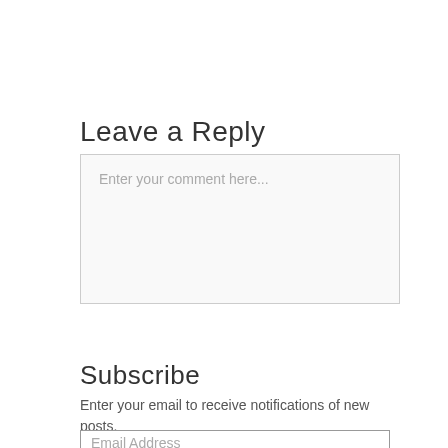Leave a Reply
Enter your comment here...
Subscribe
Enter your email to receive notifications of new posts.
Email Address